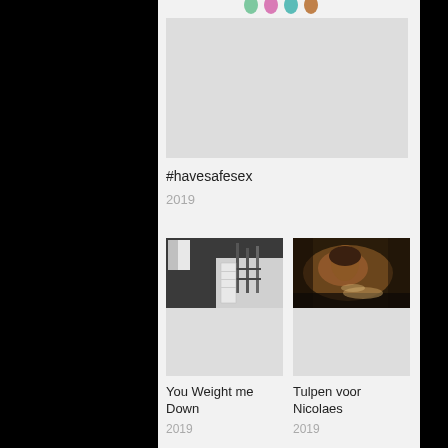[Figure (photo): Partial view of colorful cat/animal figurines at top, then a gray placeholder rectangle below — card image for #havesafesex]
#havesafesex
2019
[Figure (photo): Black and white photo of a room with equipment/scaffolding — card image for You Weight me Down]
You Weight me Down
2019
[Figure (photo): Dark warm-toned photo of a person — card image for Tulpen voor Nicolaes]
Tulpen voor Nicolaes
2019